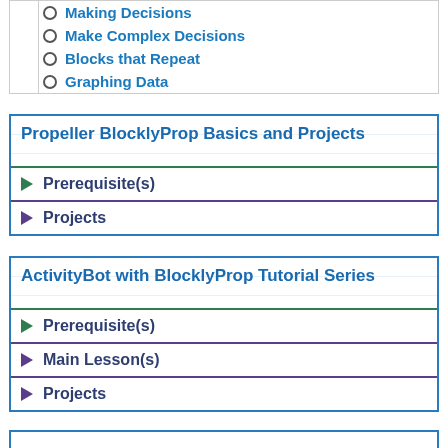Making Decisions
Make Complex Decisions
Blocks that Repeat
Graphing Data
Propeller BlocklyProp Basics and Projects
▶ Prerequisite(s)
▶ Projects
ActivityBot with BlocklyProp Tutorial Series
▶ Prerequisite(s)
▶ Main Lesson(s)
▶ Projects